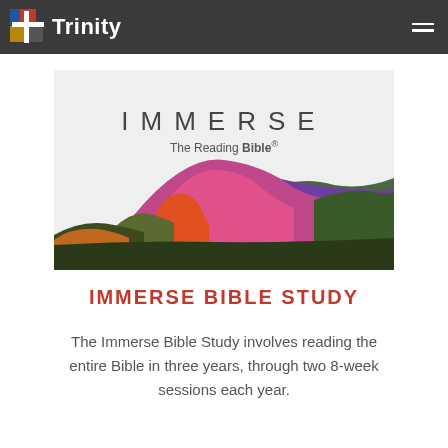Trinity
[Figure (illustration): Book cover for 'IMMERSE The Reading Bible' with colorful layered mountain landscape in pink, purple, green, and orange hues on a light gray background.]
IMMERSE BIBLE STUDY
The Immerse Bible Study involves reading the entire Bible in three years, through two 8-week sessions each year.